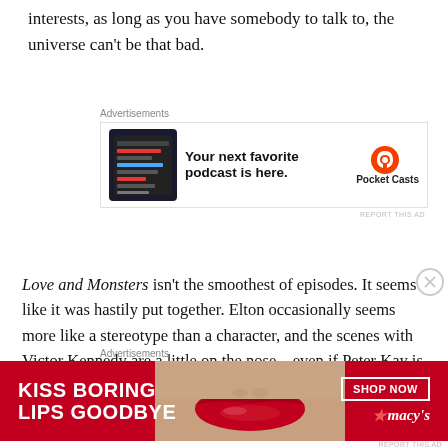interests, as long as you have somebody to talk to, the universe can't be that bad.
[Figure (other): Pocket Casts advertisement: 'Your next favorite podcast is here.' with app screenshot and Pocket Casts logo]
Love and Monsters isn't the smoothest of episodes. It seems like it was hastily put together. Elton occasionally seems more like a stereotype than a character, and the scenes with Victor Kennedy are a little on the nose – even if Peter Kay is brilliant in the role. There's also the occasional ill-judged sequence. In particular, the infamous closing scene where it's revealed that Ursula as been turned into a paving slab, but that's okay
[Figure (other): Macy's advertisement: 'Kiss Boring Lips Goodbye' with woman's lips photo and 'Shop Now' button]